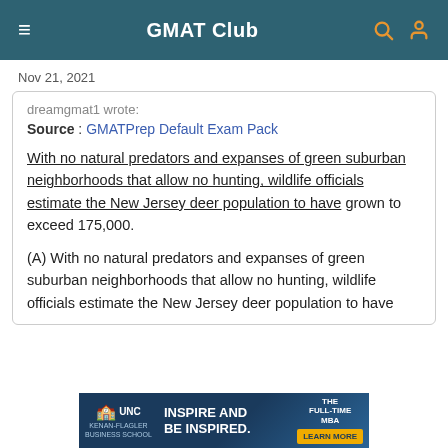GMAT Club
Nov 21, 2021
dreamgmat1 wrote:
Source : GMATPrep Default Exam Pack
With no natural predators and expanses of green suburban neighborhoods that allow no hunting, wildlife officials estimate the New Jersey deer population to have grown to exceed 175,000.
(A) With no natural predators and expanses of green suburban neighborhoods that allow no hunting, wildlife officials estimate the New Jersey deer population to have
[Figure (infographic): UNC Kenan-Flagler Business School advertisement banner: 'Inspire and Be Inspired. The Full-Time MBA. Learn More.']